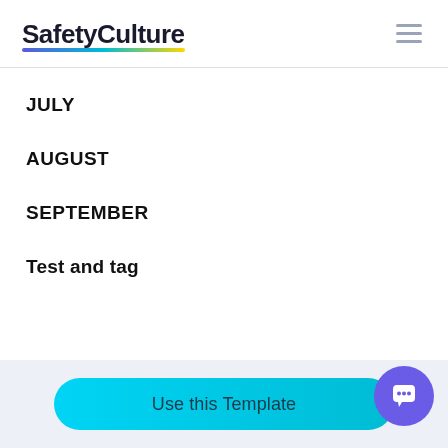SafetyCulture
JULY
AUGUST
SEPTEMBER
Test and tag
Use this Template